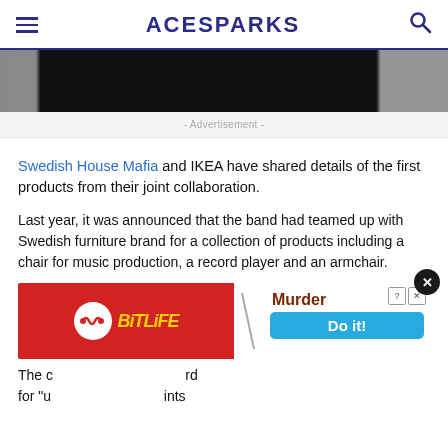ACESPARKS
[Figure (photo): Dark hero image banner, mostly black with gray sides]
- Advertisement -
Swedish House Mafia and IKEA have shared details of the first products from their joint collaboration.
Last year, it was announced that the band had teamed up with Swedish furniture brand for a collection of products including a chair for music production, a record player and an armchair.
[Figure (screenshot): BitLife mobile advertisement banner with 'Murder Do it!' call to action button]
The c...rd for "u...ints